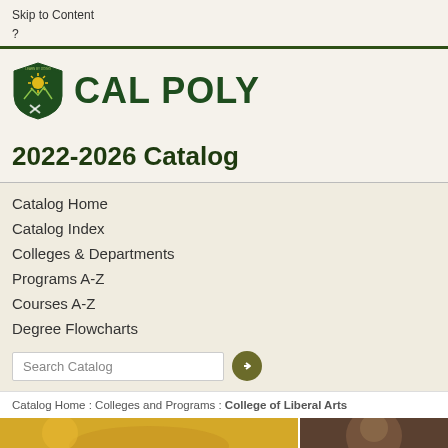Skip to Content
?
[Figure (logo): Cal Poly shield logo with 'Learn By Doing' motto, green shield with sun and tools imagery]
Cal Poly
2022-2026 Catalog
Catalog Home
Catalog Index
Colleges & Departments
Programs A-Z
Courses A-Z
Degree Flowcharts
Search Catalog
Catalog Home : Colleges and Programs : College of Liberal Arts
[Figure (photo): Two side-by-side photos at bottom of page; left shows a golden/yellow background scene, right shows a close-up of a person]